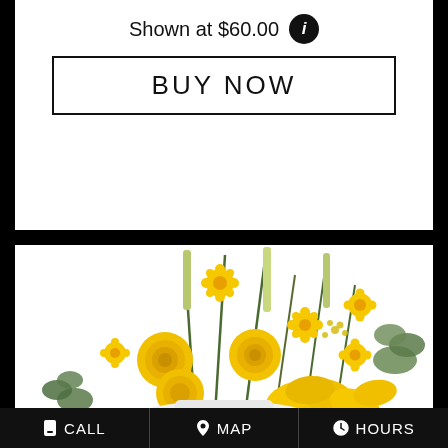Shown at $60.00
BUY NOW
[Figure (photo): Floral bouquet with yellow roses, yellow daisies, yellow lilies, green eucalyptus, and mixed greenery in a white vase on a white background]
CALL  MAP  HOURS